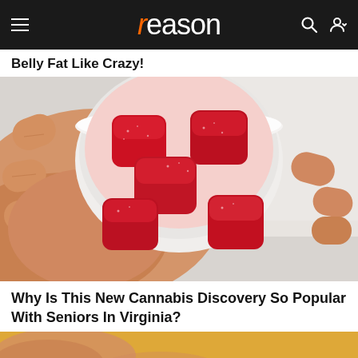reason
Belly Fat Like Crazy!
[Figure (photo): Close-up photo of a hand holding a small round clear cup filled with red gummy candies/supplements.]
Why Is This New Cannabis Discovery So Popular With Seniors In Virginia?
[Figure (photo): Partial close-up photo at bottom of page, showing fingers and a golden/yellow background.]